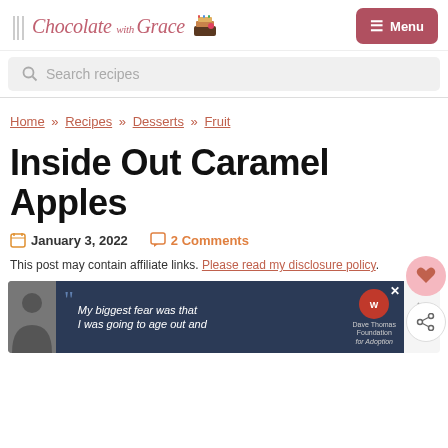Chocolate with Grace — Menu
Search recipes
Home » Recipes » Desserts » Fruit
Inside Out Caramel Apples
January 3, 2022   2 Comments
This post may contain affiliate links. Please read my disclosure policy.
[Figure (screenshot): Advertisement banner: 'My biggest fear was that I was going to age out and' — Dave Thomas Foundation for Adoption logo, with article thumbnail on left]